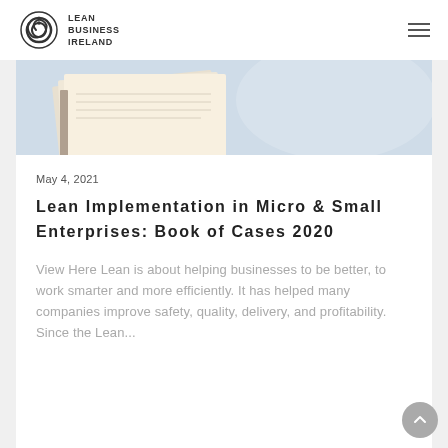Lean Business Ireland
[Figure (photo): Close-up of an open book with pages fanning out, on a light blue-grey background]
May 4, 2021
Lean Implementation in Micro & Small Enterprises: Book of Cases 2020
View Here Lean is about helping businesses to be better, to work smarter and more efficiently. It has helped many companies improve safety, quality, delivery, and profitability. Since the Lean...